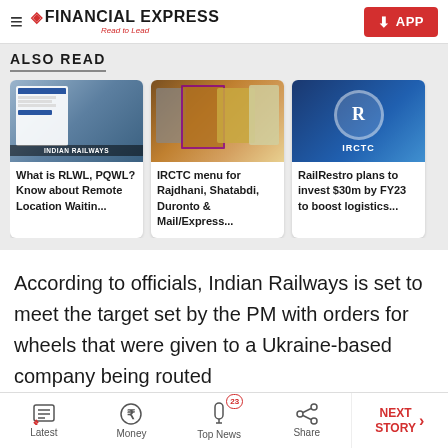FINANCIAL EXPRESS — Read to Lead
ALSO READ
[Figure (screenshot): Card 1: Indian Railways booking screen with mountain background. Title: What is RLWL, PQWL? Know about Remote Location Waitin...]
[Figure (screenshot): Card 2: IRCTC train food trays with various Indian dishes. Title: IRCTC menu for Rajdhani, Shatabdi, Duronto & Mail/Express...]
[Figure (screenshot): Card 3: IRCTC logo on blue train background. Title: RailRestro plans to invest $30m by FY23 to boost logistics...]
According to officials, Indian Railways is set to meet the target set by the PM with orders for wheels that were given to a Ukraine-based company being routed
Latest | Money | Top News 23 | Share | NEXT STORY